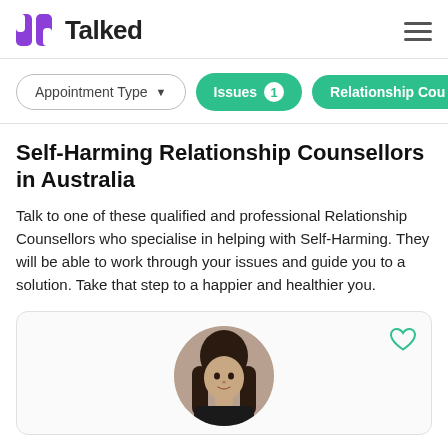Talked
Appointment Type  Issues 1  Relationship Cou
Self-Harming Relationship Counsellors in Australia
Talk to one of these qualified and professional Relationship Counsellors who specialise in helping with Self-Harming. They will be able to work through your issues and guide you to a solution. Take that step to a happier and healthier you.
[Figure (photo): A circular profile photo of a woman with long dark hair against a light background, shown on a counsellor listing card with a heart/favourite icon in the top right.]